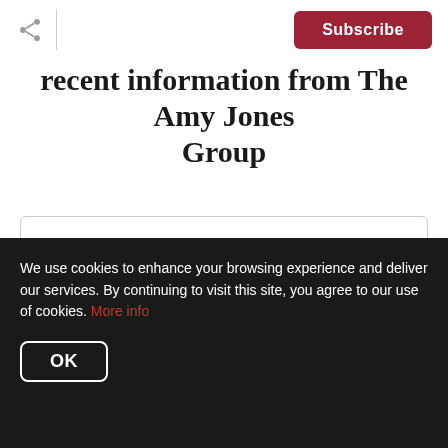Subscribe
recent information from The Amy Jones Group
Enter your email
Subscribe
We respect your inbox. We only send interesting and
We use cookies to enhance your browsing experience and deliver our services. By continuing to visit this site, you agree to our use of cookies. More info
OK